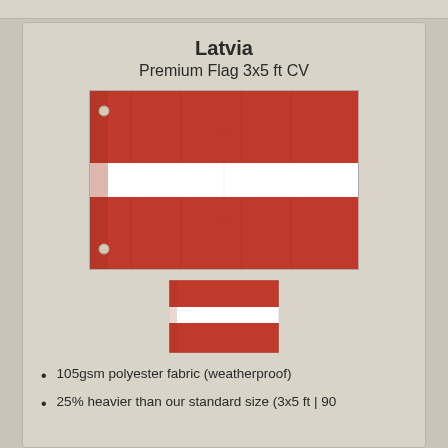Latvia
Premium Flag 3x5 ft CV
[Figure (photo): Large Latvia flag (3x5 ft) showing two dark red horizontal stripes with a white stripe in the middle, displayed with slight folds and grommets on the left side.]
[Figure (photo): Small Latvia flag thumbnail showing the same two dark red horizontal stripes with a white stripe in the middle.]
105gsm polyester fabric (weatherproof)
25% heavier than our standard size (3x5 ft | 90